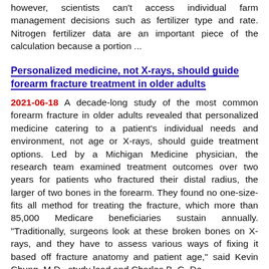however, scientists can't access individual farm management decisions such as fertilizer type and rate. Nitrogen fertilizer data are an important piece of the calculation because a portion ...
Personalized medicine, not X-rays, should guide forearm fracture treatment in older adults
2021-06-18 A decade-long study of the most common forearm fracture in older adults revealed that personalized medicine catering to a patient's individual needs and environment, not age or X-rays, should guide treatment options. Led by a Michigan Medicine physician, the research team examined treatment outcomes over two years for patients who fractured their distal radius, the larger of two bones in the forearm. They found no one-size-fits all method for treating the fracture, which more than 85,000 Medicare beneficiaries sustain annually. "Traditionally, surgeons look at these broken bones on X-rays, and they have to assess various ways of fixing it based off fracture anatomy and patient age," said Kevin Chung, M.D., study lead and Charles B. G. De...